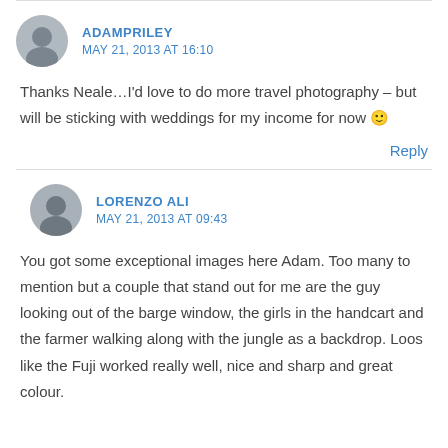ADAMPRILEY
MAY 21, 2013 AT 16:10
Thanks Neale…I'd love to do more travel photography – but will be sticking with weddings for my income for now 🙂
Reply
LORENZO ALI
MAY 21, 2013 AT 09:43
You got some exceptional images here Adam. Too many to mention but a couple that stand out for me are the guy looking out of the barge window, the girls in the handcart and the farmer walking along with the jungle as a backdrop. Loos like the Fuji worked really well, nice and sharp and great colour.